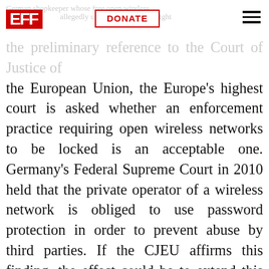EFF | DONATE | [menu]
the preliminary reference to the Court of Justice of the European Union, the Europe's highest court is asked whether an enforcement practice requiring open wireless networks to be locked is an acceptable one. Germany's Federal Supreme Court in 2010 held that the private operator of a wireless network is obliged to use password protection in order to prevent abuse by third parties. If the CJEU affirms this finding, the effect could be to extend this bad precedent throughout Europe, grounding the open wireless movement across the continent. If on the other hand it rejects that finding, German law could be forced to return to sanity, allowing thousands of hotspot operators to open up their networks again.